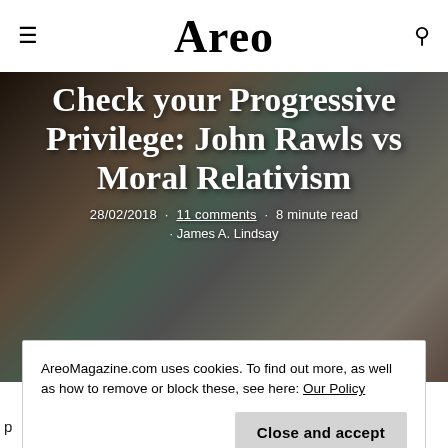Areo
Check your Progressive Privilege: John Rawls vs Moral Relativism
28/02/2018 · 11 comments · 8 minute read · James A. Lindsay
AreoMagazine.com uses cookies. To find out more, as well as how to remove or block these, see here: Our Policy
Close and accept